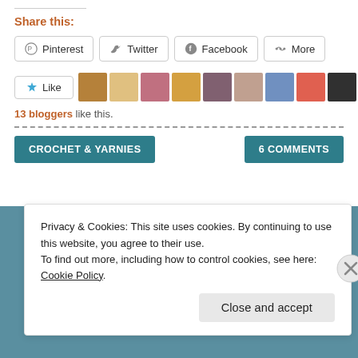Share this:
Pinterest | Twitter | Facebook | More
[Figure (other): Like button with star icon and a row of 9 blogger avatar thumbnails]
13 bloggers like this.
CROCHET & YARNIES    6 COMMENTS
Privacy & Cookies: This site uses cookies. By continuing to use this website, you agree to their use.
To find out more, including how to control cookies, see here: Cookie Policy.
Close and accept